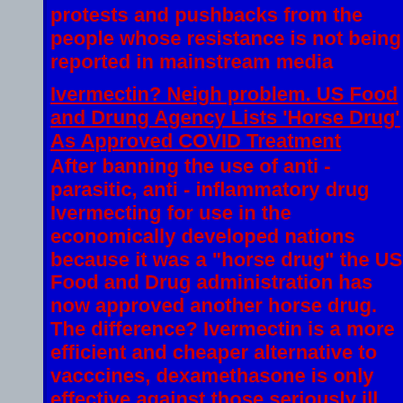protests and pushbacks from the people whose resistance is not being reported in mainstream media
Ivermectin? Neigh problem. US Food and Drung Agency Lists 'Horse Drug' As Approved COVID Treatment
After banning the use of anti - parasitic, anti - inflammatory drug Ivermecting for use in the economically developed nations because it was a "horse drug" the US Food and Drug administration has now approved another horse drug. The difference? Ivermectin is a more efficient and cheaper alternative to vacccines, dexamethasone is only effective against those seriously ill with